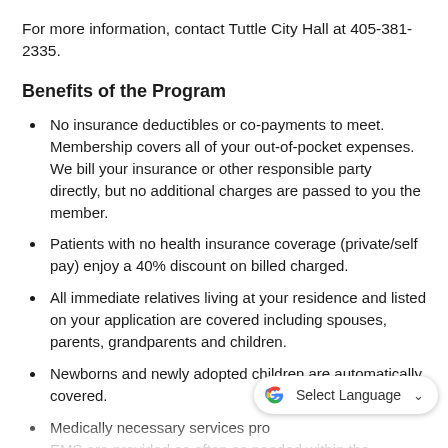For more information, contact Tuttle City Hall at 405-381-2335.
Benefits of the Program
No insurance deductibles or co-payments to meet. Membership covers all of your out-of-pocket expenses. We bill your insurance or other responsible party directly, but no additional charges are passed to you the member.
Patients with no health insurance coverage (private/self pay) enjoy a 40% discount on billed charged.
All immediate relatives living at your residence and listed on your application are covered including spouses, parents, grandparents and children.
Newborns and newly adopted children are automatically covered.
Medically necessary services provided by Tuttle EMS are provided as often as needed within the